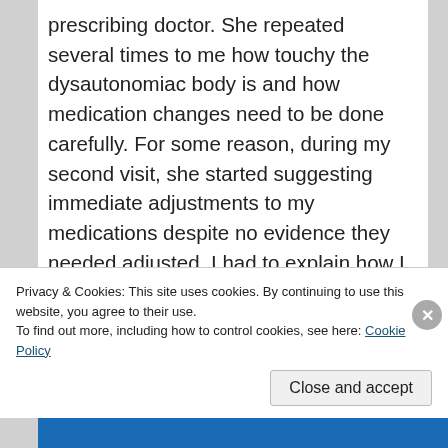prescribing doctor. She repeated several times to me how touchy the dysautonomiac body is and how medication changes need to be done carefully. For some reason, during my second visit, she started suggesting immediate adjustments to my medications despite no evidence they needed adjusted. I had to explain how I don't think the time to adjust medicine is when you're not feeling very well. I think the time to adjust is either when
Privacy & Cookies: This site uses cookies. By continuing to use this website, you agree to their use.
To find out more, including how to control cookies, see here: Cookie Policy
Close and accept